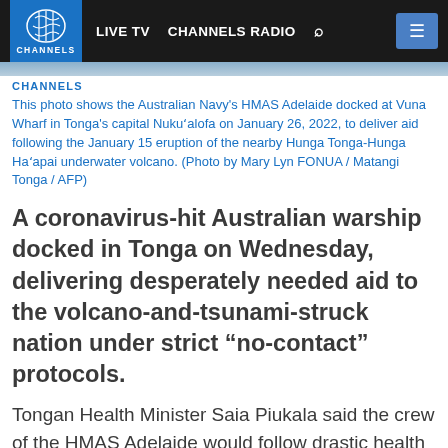LIVE TV   CHANNELS RADIO
This photo shows the Australian Navy's HMAS Adelaide docked at Vuna Wharf in Tonga's capital Nukuʻalofa on January 26, 2022, to deliver aid following the January 15 eruption of the nearby Hunga Tonga-Hunga Haʻapai underwater volcano. (Photo by Mary Lyn FONUA / Matangi Tonga / AFP)
A coronavirus-hit Australian warship docked in Tonga on Wednesday, delivering desperately needed aid to the volcano-and-tsunami-struck nation under strict “no-contact” protocols.
Tongan Health Minister Saia Piukala said the crew of the HMAS Adelaide would follow drastic health protocols to ensure the remote Pacific kingdom